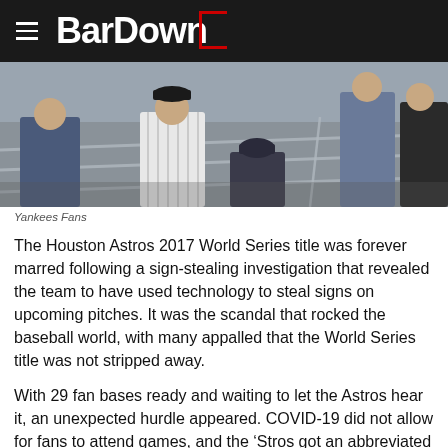BarDown
[Figure (photo): Yankees fans in stadium bleachers, some wearing Yankees pinstripe jerseys and caps, standing near metal railings.]
Yankees Fans
The Houston Astros 2017 World Series title was forever marred following a sign-stealing investigation that revealed the team to have used technology to steal signs on upcoming pitches. It was the scandal that rocked the baseball world, with many appalled that the World Series title was not stripped away.
With 29 fan bases ready and waiting to let the Astros hear it, an unexpected hurdle appeared. COVID-19 did not allow for fans to attend games, and the ‘Stros got an abbreviated season without the boo birds there to give it to them.